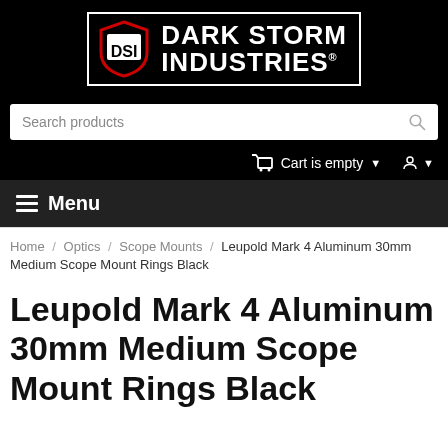[Figure (logo): Dark Storm Industries logo: DSI shield icon on left with white text 'DARK STORM INDUSTRIES' on black background, bordered box]
Search products
Cart is empty
Menu
Home / Optics / Scope Mounts / Leupold Mark 4 Aluminum 30mm Medium Scope Mount Rings Black
Leupold Mark 4 Aluminum 30mm Medium Scope Mount Rings Black